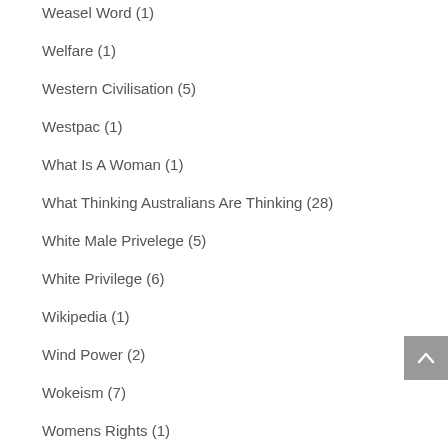Weasel Word (1)
Welfare (1)
Western Civilisation (5)
Westpac (1)
What Is A Woman (1)
What Thinking Australians Are Thinking (28)
White Male Privelege (5)
White Privilege (6)
Wikipedia (1)
Wind Power (2)
Wokeism (7)
Womens Rights (1)